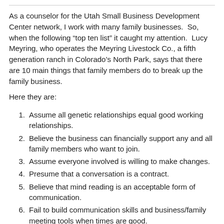As a counselor for the Utah Small Business Development Center network, I work with many family businesses. So, when the following “top ten list” it caught my attention. Lucy Meyring, who operates the Meyring Livestock Co., a fifth generation ranch in Colorado’s North Park, says that there are 10 main things that family members do to break up the family business.
Here they are:
Assume all genetic relationships equal good working relationships.
Believe the business can financially support any and all family members who want to join.
Assume everyone involved is willing to make changes.
Presume that a conversation is a contract.
Believe that mind reading is an acceptable form of communication.
Fail to build communication skills and business/family meeting tools when times are good.